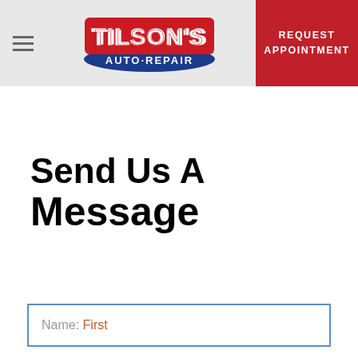[Figure (logo): Tilson's Auto Repair logo with red stylized text 'TILSON'S' and blue banner 'AUTO·REPAIR']
REQUEST APPOINTMENT
Send Us A Message
Name: First